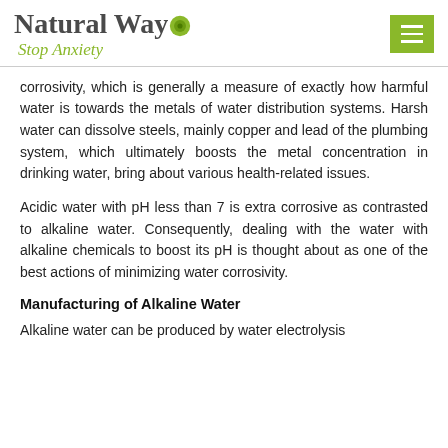Natural Way Stop Anxiety
corrosivity, which is generally a measure of exactly how harmful water is towards the metals of water distribution systems. Harsh water can dissolve steels, mainly copper and lead of the plumbing system, which ultimately boosts the metal concentration in drinking water, bring about various health-related issues.
Acidic water with pH less than 7 is extra corrosive as contrasted to alkaline water. Consequently, dealing with the water with alkaline chemicals to boost its pH is thought about as one of the best actions of minimizing water corrosivity.
Manufacturing of Alkaline Water
Alkaline water can be produced by water electrolysis